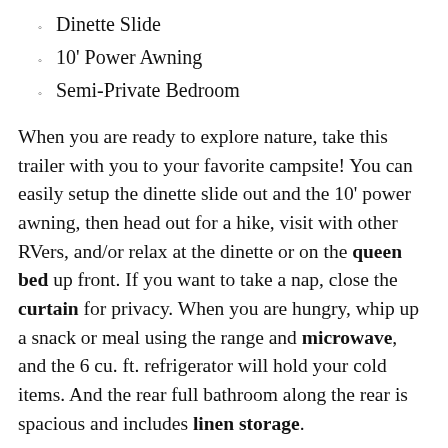Dinette Slide
10' Power Awning
Semi-Private Bedroom
When you are ready to explore nature, take this trailer with you to your favorite campsite! You can easily setup the dinette slide out and the 10' power awning, then head out for a hike, visit with other RVers, and/or relax at the dinette or on the queen bed up front. If you want to take a nap, close the curtain for privacy. When you are hungry, whip up a snack or meal using the range and microwave, and the 6 cu. ft. refrigerator will hold your cold items. And the rear full bathroom along the rear is spacious and includes linen storage.
With any Jayco Jay Flight SLX Western Edition travel trailer, the exterior offers an impressive...